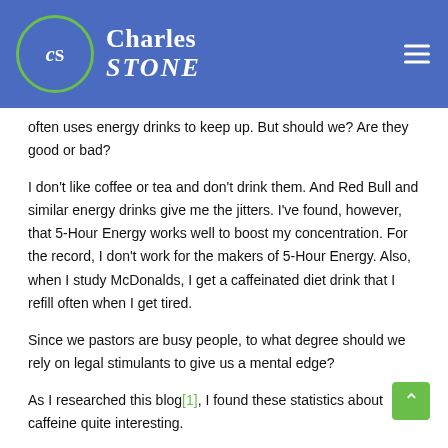Charles STONE
often uses energy drinks to keep up. But should we? Are they good or bad?
I don't like coffee or tea and don't drink them. And Red Bull and similar energy drinks give me the jitters. I've found, however, that 5-Hour Energy works well to boost my concentration. For the record, I don't work for the makers of 5-Hour Energy. Also, when I study McDonalds, I get a caffeinated diet drink that I refill often when I get tired.
Since we pastors are busy people, to what degree should we rely on legal stimulants to give us a mental edge?
As I researched this blog[1], I found these statistics about caffeine quite interesting.